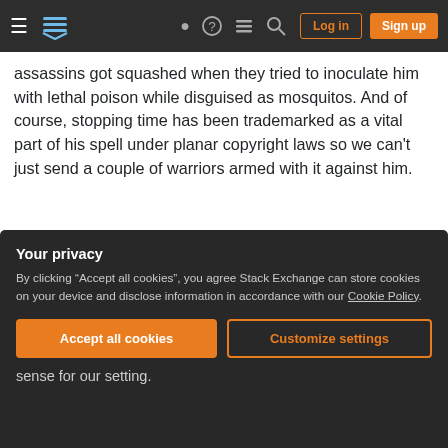Stack Exchange navigation bar with hamburger menu, logo, help, chat, search icons, Log in and Sign up buttons
assassins got squashed when they tried to inoculate him with lethal poison while disguised as mosquitos. And of course, stopping time has been trademarked as a vital part of his spell under planar copyright laws so we can't just send a couple of warriors armed with it against him.
So here we are. How do we stop him before everything we know and love is irredeemably made better for everyone else but us?
(partial, obscured by banner)
Your privacy
By clicking "Accept all cookies", you agree Stack Exchange can store cookies on your device and disclose information in accordance with our Cookie Policy.
Accept all cookies
Customize settings
sense for our setting.